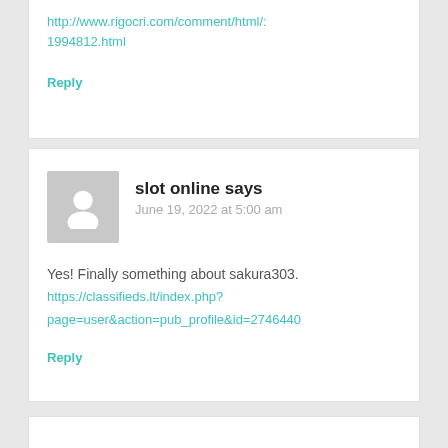http://www.rigocri.com/comment/html/: 1994812.html
Reply
slot online says
June 19, 2022 at 5:00 am
Yes! Finally something about sakura303.
https://classifieds.lt/index.php?page=user&action=pub_profile&id=2746440
Reply